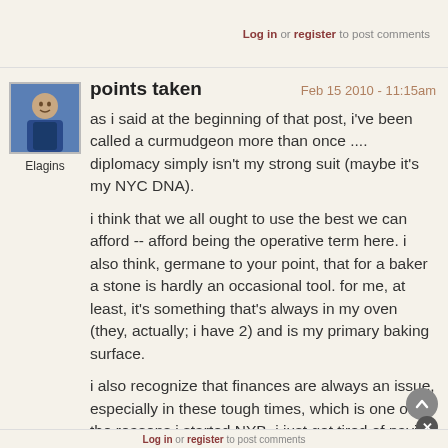Log in or register to post comments
points taken
Feb 15 2010 - 11:15am
[Figure (photo): Avatar photo of user Elagins, showing a person wearing a blue apron]
Elagins
as i said at the beginning of that post, i've been called a curmudgeon more than once .... diplomacy simply isn't my strong suit (maybe it's my NYC DNA).
i think that we all ought to use the best we can afford -- afford being the operative term here. i also think, germane to your point, that for a baker a stone is hardly an occasional tool. for me, at least, it's something that's always in my oven (they, actually; i have 2) and is my primary baking surface.
i also recognize that finances are always an issue, especially in these tough times, which is one of the reasons i started NYB. i just got tired of paying what i consider exorbitant prices.
Log in or register to post comments